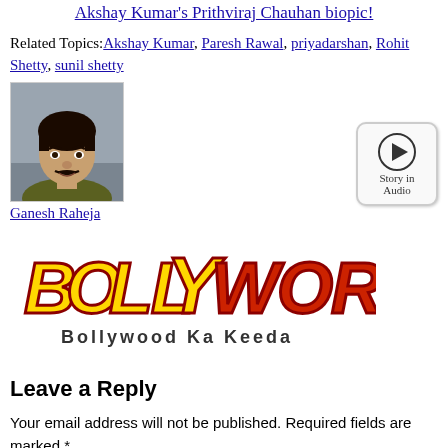Miss World Manushi Chhillar to make her debut with Akshay Kumar's Prithviraj Chauhan biopic!
Related Topics: Akshay Kumar, Paresh Rawal, priyadarshan, Rohit Shetty, sunil shetty
[Figure (photo): Headshot photo of Ganesh Raheja, a young man with dark hair and mustache]
Ganesh Raheja
[Figure (logo): Bollyworm logo - Bollywood Ka Keeda, orange and red styled text with decorative elements]
[Figure (other): Story in Audio button - circular play icon with text 'Story in Audio']
Leave a Reply
Your email address will not be published. Required fields are marked *
Comment